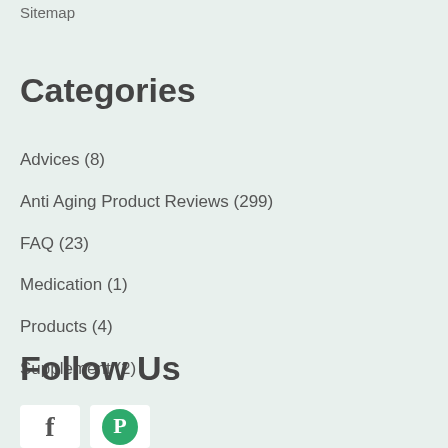Sitemap
Categories
Advices (8)
Anti Aging Product Reviews (299)
FAQ (23)
Medication (1)
Products (4)
Supplement (2)
Follow Us
[Figure (logo): Facebook logo icon in white box]
[Figure (logo): Pinterest logo icon in green circle in white box]